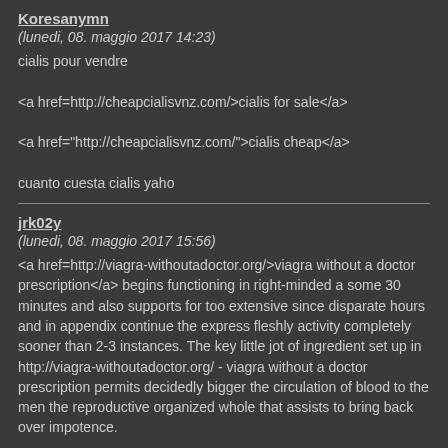Koresanymn
(lunedi, 08. maggio 2017 14:23)
cialis pour vendre

<a href=http://cheapcialisvnz.com/>cialis for sale</a>

<a href="http://cheapcialisvnz.com/">cialis cheap</a>

cuanto cuesta cialis yaho
jrk02y
(lunedi, 08. maggio 2017 15:56)
<a href=http://viagra-withoutadoctor.org/>viagra without a doctor prescription</a> begins functioning in right-minded a some 30 minutes and also supports for too extensive since disparate hours and in appendix continue the express fleshly activity completely sooner than 2-3 instances. The key little jot of ingredient set up in http://viagra-withoutadoctor.org/ - viagra without a doctor prescription permits decidedly bigger the circulation of blood to the men the reproductive organized whole that assists to bring back over impotence.
Mcslfpzz
(lunedi, 08. maggio 2017 18:20)